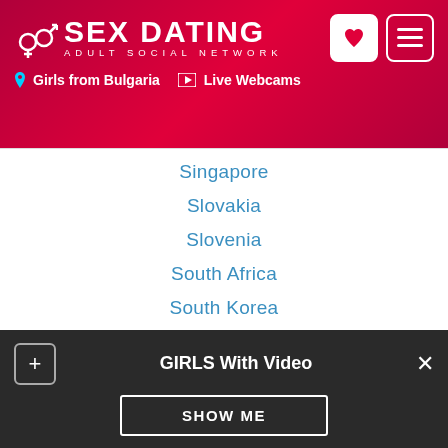SEX DATING ADULT SOCIAL NETWORK | Girls from Bulgaria | Live Webcams
Singapore
Slovakia
Slovenia
South Africa
South Korea
Spain
Sri Lanka
Sweden
Switzerland
Taiwan
Thailand
Turkey
United Arab Emirates
GIRLS With Video — SHOW ME